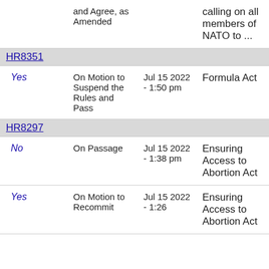| Vote | Motion Type | Date | Description |
| --- | --- | --- | --- |
|  | and Agree, as Amended |  | calling on all members of NATO to ... |
| HR8351 |  |  |  |
| Yes | On Motion to Suspend the Rules and Pass | Jul 15 2022 - 1:50 pm | Formula Act |
| HR8297 |  |  |  |
| No | On Passage | Jul 15 2022 - 1:38 pm | Ensuring Access to Abortion Act |
| Yes | On Motion to Recommit | Jul 15 2022 - 1:26 | Ensuring Access to Abortion Act |